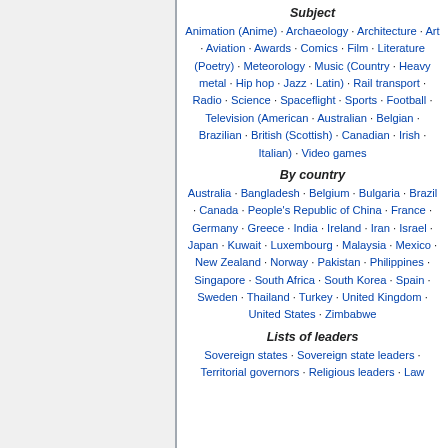Subject
Animation (Anime) · Archaeology · Architecture · Art · Aviation · Awards · Comics · Film · Literature (Poetry) · Meteorology · Music (Country · Heavy metal · Hip hop · Jazz · Latin) · Rail transport · Radio · Science · Spaceflight · Sports · Football · Television (American · Australian · Belgian · Brazilian · British (Scottish) · Canadian · Irish · Italian) · Video games
By country
Australia · Bangladesh · Belgium · Bulgaria · Brazil · Canada · People's Republic of China · France · Germany · Greece · India · Ireland · Iran · Israel · Japan · Kuwait · Luxembourg · Malaysia · Mexico · New Zealand · Norway · Pakistan · Philippines · Singapore · South Africa · South Korea · Spain · Sweden · Thailand · Turkey · United Kingdom · United States · Zimbabwe
Lists of leaders
Sovereign states · Sovereign state leaders · Territorial governors · Religious leaders · Law